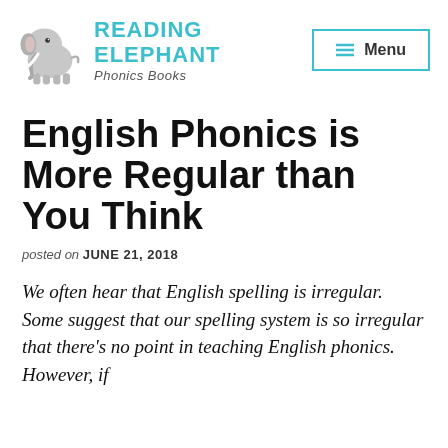Reading Elephant — Phonics Books | Menu
English Phonics is More Regular than You Think
posted on JUNE 21, 2018
We often hear that English spelling is irregular. Some suggest that our spelling system is so irregular that there's no point in teaching English phonics. However, if